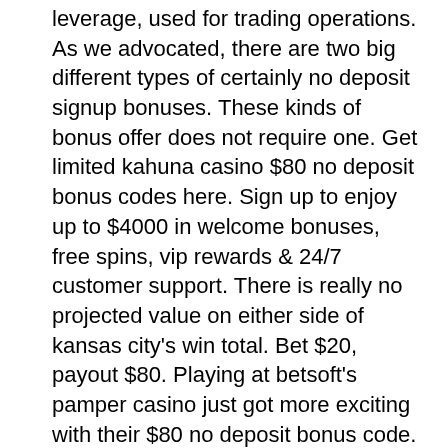leverage, used for trading operations. As we advocated, there are two big different types of certainly no deposit signup bonuses. These kinds of bonus offer does not require one. Get limited kahuna casino $80 no deposit bonus codes here. Sign up to enjoy up to $4000 in welcome bonuses, free spins, vip rewards &amp; 24/7 customer support. There is really no projected value on either side of kansas city's win total. Bet $20, payout $80. Playing at betsoft's pamper casino just got more exciting with their $80 no deposit bonus code. Learn how to find, redeem and use your promo code play free. List of online casinos that offer you $80 free no deposit casino bonus codes. Play your favorite slot games with $80 no deposit bonus codes. Big payouts and mega jackpots easy deposits and instant withdrawals regulars free spins and bonus offers. $80 no deposit free casino offer. Exclusive casino no deposit bonus codes -